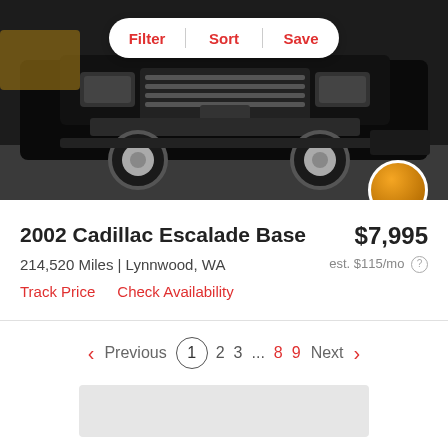[Figure (photo): Front view of a black 2002 Cadillac Escalade SUV parked on pavement, with chrome grille and wheels visible. A Filter/Sort/Save toolbar overlaid at top center.]
2002 Cadillac Escalade Base  $7,995
214,520 Miles | Lynnwood, WA
est. $115/mo
Track Price   Check Availability
Previous 1 2 3 ... 8 9 Next